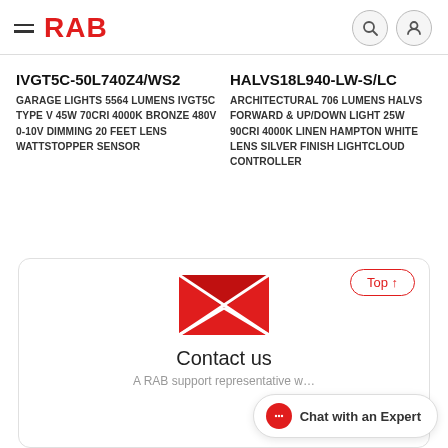RAB
IVGT5C-50L740Z4/WS2
GARAGE LIGHTS 5564 LUMENS IVGT5C TYPE V 45W 70CRI 4000K BRONZE 480V 0-10V DIMMING 20 FEET LENS WATTSTOPPER SENSOR
HALVS18L940-LW-S/LC
ARCHITECTURAL 706 LUMENS HALVS FORWARD & UP/DOWN LIGHT 25W 90CRI 4000K LINEN HAMPTON WHITE LENS SILVER FINISH LIGHTCLOUD CONTROLLER
[Figure (illustration): Red envelope icon with X diagonal lines on a white background]
Contact us
A RAB support representative w...